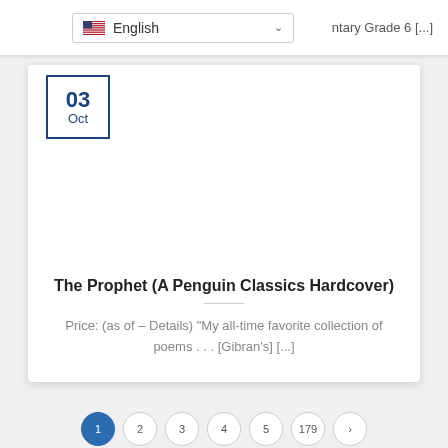English
ntary Grade 6 [...]
03
Oct
The Prophet (A Penguin Classics Hardcover)
Price: (as of – Details) “My all-time favorite collection of poems . . . [Gibran’s] [...]